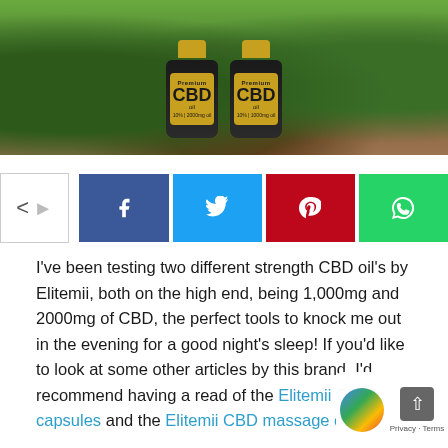[Figure (photo): Two dark bottles of Premium CBD oil (1000mg and 2000mg) surrounded by green leaves on soil background]
[Figure (infographic): Social share buttons row: share icon, Facebook, Twitter, Pinterest, WhatsApp]
I've been testing two different strength CBD oil's by Elitemii, both on the high end, being 1,000mg and 2000mg of CBD, the perfect tools to knock me out in the evening for a good night's sleep! If you'd like to look at some other articles by this brand, I'd recommend having a read of the Elitemii CBD capsules and the Elitemii CBD massage oil.
How Much CBD Do You Get?